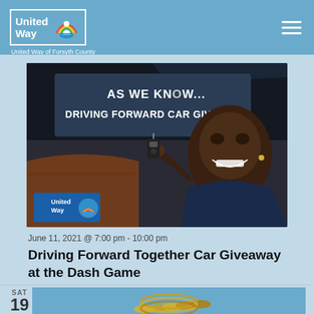[Figure (logo): United Way of Forsyth County logo with rainbow arc icon, white text on blue background with white border]
[Figure (photo): Man sitting in car smiling and holding car keys, with text overlay reading 'AS WE KNOW... DRIVING FORWARD CAR GIVEAWAY' and United Way logo in corner]
June 11, 2021 @ 7:00 pm - 10:00 pm
Driving Forward Together Car Giveaway at the Dash Game
SAT
19
[Figure (photo): Partial image of event, partially cut off at bottom]